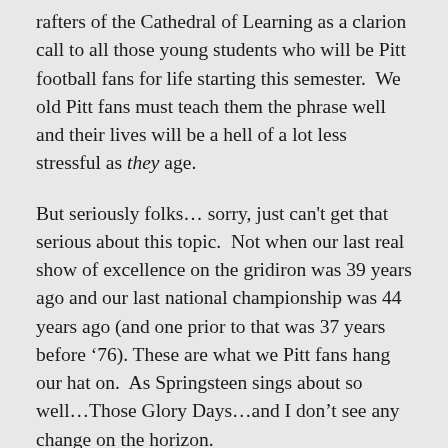rafters of the Cathedral of Learning as a clarion call to all those young students who will be Pitt football fans for life starting this semester.  We old Pitt fans must teach them the phrase well and their lives will be a hell of a lot less stressful as they age.
But seriously folks… sorry, just can't get that serious about this topic.  Not when our last real show of excellence on the gridiron was 39 years ago and our last national championship was 44 years ago (and one prior to that was 37 years before '76). These are what we Pitt fans hang our hat on.  As Springsteen sings about so well…Those Glory Days…and I don't see any change on the horizon.
When the best you can do is a singular 10 win season (DW) with only two nine wins seasons